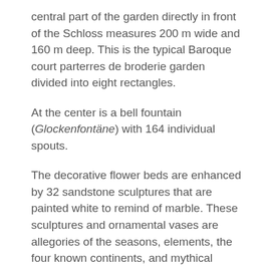central part of the garden directly in front of the Schloss measures 200 m wide and 160 m deep. This is the typical Baroque court parterres de broderie garden divided into eight rectangles.
At the center is a bell fountain (Glockenfontäne) with 164 individual spouts.
The decorative flower beds are enhanced by 32 sandstone sculptures that are painted white to remind of marble. These sculptures and ornamental vases are allegories of the seasons, elements, the four known continents, and mythical figures.
Schwanenteiche – the four swan lakes behind the great parterre were originally fish ponds but later also used for farming ducks and swans. In the 18th century, this area